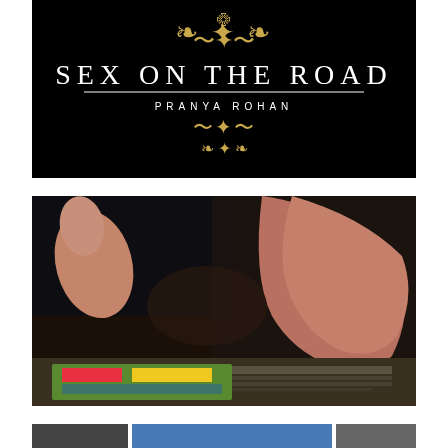[Figure (photo): Book cover for 'Sex on the Road' by Pranya Rohan. Black background with gold ornamental decorations at top and bottom, large white serif text title, and author name in small spaced capitals.]
[Figure (photo): Dark photograph showing human feet/legs in a dim interior setting, with colorful printed material visible at the bottom of the frame.]
[Figure (photo): Partial view of additional images at the bottom of the page, showing three cropped thumbnail-style photos side by side.]